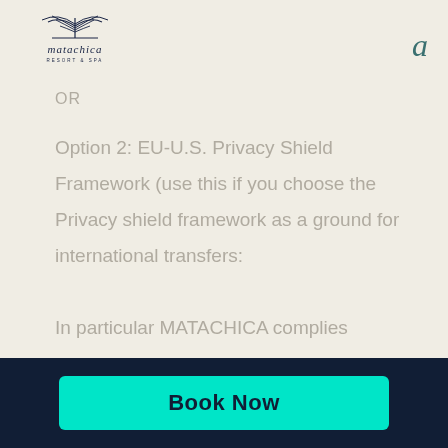[Figure (logo): Matachica Resort & Spa logo with palm frond/thatch roof illustration above the handwritten-style 'matachica' wordmark and 'RESORT & SPA' subtitle]
a
OR
Option 2: EU-U.S. Privacy Shield Framework (use this if you choose the Privacy shield framework as a ground for international transfers:
In particular MATACHICA complies
Book Now